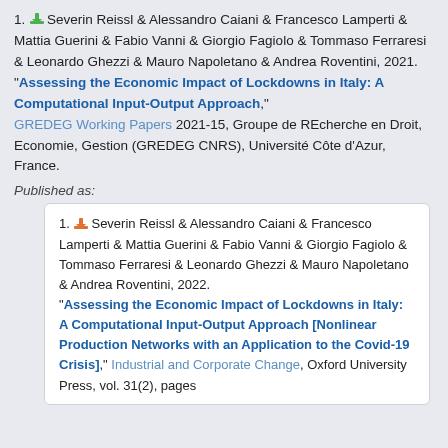1. Severin Reissl & Alessandro Caiani & Francesco Lamperti & Mattia Guerini & Fabio Vanni & Giorgio Fagiolo & Tommaso Ferraresi & Leonardo Ghezzi & Mauro Napoletano & Andrea Roventini, 2021. "Assessing the Economic Impact of Lockdowns in Italy: A Computational Input-Output Approach," GREDEG Working Papers 2021-15, Groupe de REcherche en Droit, Economie, Gestion (GREDEG CNRS), Université Côte d'Azur, France.
Published as:
1. Severin Reissl & Alessandro Caiani & Francesco Lamperti & Mattia Guerini & Fabio Vanni & Giorgio Fagiolo & Tommaso Ferraresi & Leonardo Ghezzi & Mauro Napoletano & Andrea Roventini, 2022. "Assessing the Economic Impact of Lockdowns in Italy: A Computational Input-Output Approach [Nonlinear Production Networks with an Application to the Covid-19 Crisis]," Industrial and Corporate Change, Oxford University Press, vol. 31(2), pages